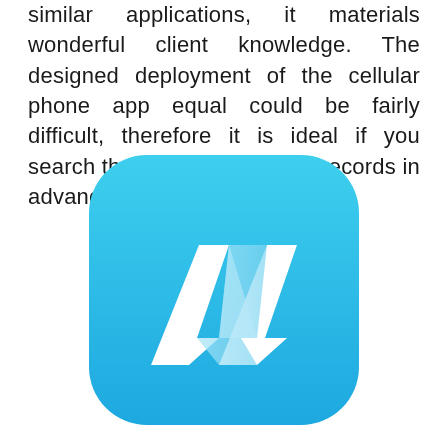similar applications, it materials wonderful client knowledge. The designed deployment of the cellular phone app equal could be fairly difficult, therefore it is ideal if you search the license as well as records in advance.
[Figure (logo): App icon with rounded rectangle shape, blue gradient background, and a white double-triangle/M-shaped logo mark in the center.]